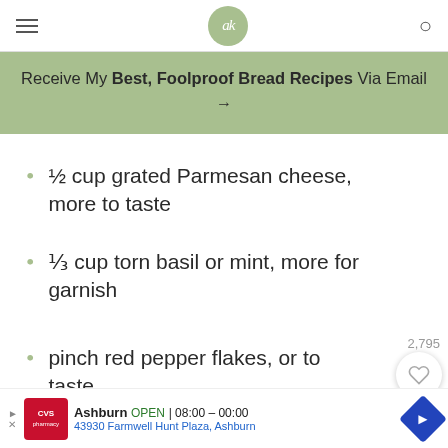ak — navigation header with hamburger menu, logo, and search icon
Receive My Best, Foolproof Bread Recipes Via Email →
½ cup grated Parmesan cheese, more to taste
⅓ cup torn basil or mint, more for garnish
pinch red pepper flakes, or to taste
Fresh lemon juice, as needed
2,795
Ashburn OPEN 08:00 – 00:00 | 43930 Farmwell Hunt Plaza, Ashburn